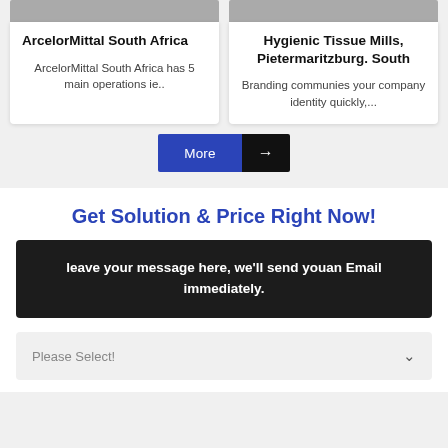ArcelorMittal South Africa
ArcelorMittal South Africa has 5 main operations ie..
Hygienic Tissue Mills, Pietermaritzburg. South
Branding communies your company identity quickly,...
More →
Get Solution & Price Right Now!
leave your message here, we'll send youan Email immediately.
Please Select!